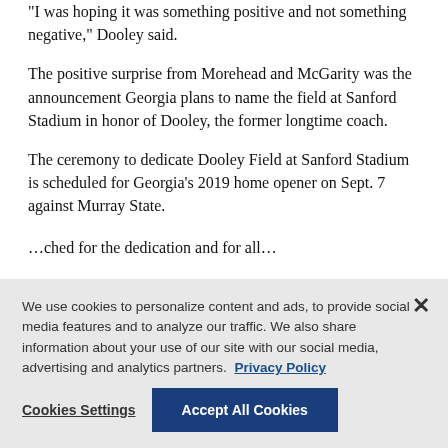“I was hoping it was something positive and not something negative,” Dooley said.
The positive surprise from Morehead and McGarity was the announcement Georgia plans to name the field at Sanford Stadium in honor of Dooley, the former longtime coach.
The ceremony to dedicate Dooley Field at Sanford Stadium is scheduled for Georgia’s 2019 home opener on Sept. 7 against Murray State.
[partial text cut off by overlay]
We use cookies to personalize content and ads, to provide social media features and to analyze our traffic. We also share information about your use of our site with our social media, advertising and analytics partners. Privacy Policy
Cookies Settings | Accept All Cookies